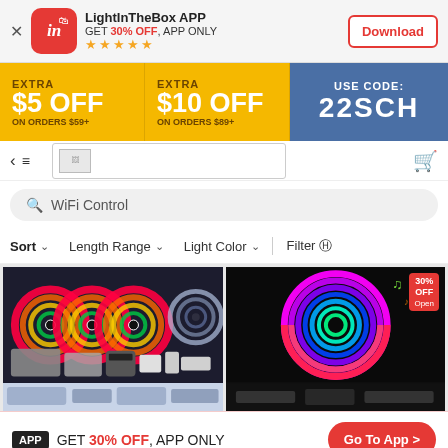[Figure (screenshot): LightInTheBox app banner with red icon showing 'in' logo, app name, 30% OFF promo text, 5 star rating, and Download button]
[Figure (infographic): Promotional banner: EXTRA $5 OFF ON ORDERS $59+, EXTRA $10 OFF ON ORDERS $89+, USE CODE: 22SCH on blue background]
[Figure (screenshot): Navigation bar with back arrow, hamburger menu, logo search box, and cart icon]
WiFi Control
Sort   Length Range   Light Color   Filter
[Figure (photo): LED strip light product showing multiple colorful LED rolls with controller and accessories on dark background]
[Figure (photo): LED neon rope light product showing spiral rainbow colored neon flex light on black background with 30% OFF badge]
APP GET 30% OFF, APP ONLY   Go To App >